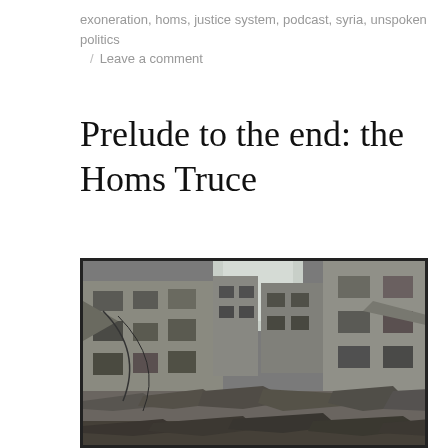exoneration, homs, justice system, podcast, syria, unspoken politics
/ Leave a comment
Prelude to the end: the Homs Truce
[Figure (photo): A war-damaged street scene in Homs, Syria. The photo shows a rubble-strewn road flanked by heavily damaged multi-storey concrete buildings with blown-out facades, debris scattered on the ground, and a narrow strip of sky visible between the ruined structures.]